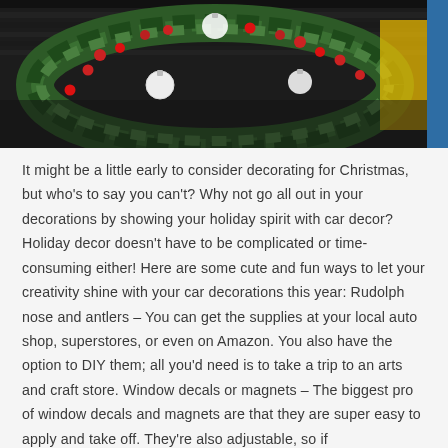[Figure (photo): A Christmas wreath with red berries, white ornaments, and pine branches decorating the front grille of a dark car. Yellow vehicle visible in background on right.]
It might be a little early to consider decorating for Christmas, but who's to say you can't? Why not go all out in your decorations by showing your holiday spirit with car decor? Holiday decor doesn't have to be complicated or time-consuming either! Here are some cute and fun ways to let your creativity shine with your car decorations this year: Rudolph nose and antlers – You can get the supplies at your local auto shop, superstores, or even on Amazon. You also have the option to DIY them; all you'd need is to take a trip to an arts and craft store. Window decals or magnets – The biggest pro of window decals and magnets are that they are super easy to apply and take off. They're also adjustable, so if